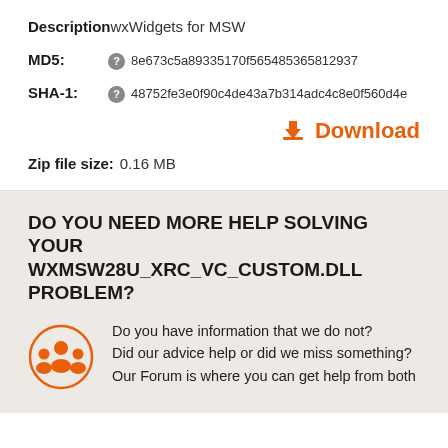Description  wxWidgets for MSW
MD5:  8e673c5a89335170f565485365812937
SHA-1:  48752fe3e0f90c4de43a7b314adc4c8e0f560d4e
Download
Zip file size:  0.16 MB
DO YOU NEED MORE HELP SOLVING YOUR WXMSW28U_XRC_VC_CUSTOM.DLL PROBLEM?
Do you have information that we do not?
Did our advice help or did we miss something?
Our Forum is where you can get help from both